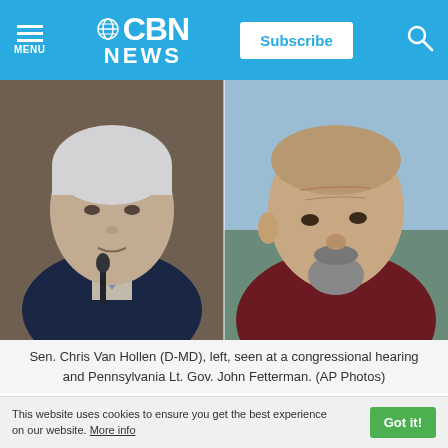CBN NEWS
[Figure (photo): Two side-by-side photos: Sen. Chris Van Hollen (D-MD) on the left at a congressional hearing, and Pennsylvania Lt. Gov. John Fetterman on the right outdoors.]
Sen. Chris Van Hollen (D-MD), left, seen at a congressional hearing and Pennsylvania Lt. Gov. John Fetterman. (AP Photos)
With control of the U.S. Senate hanging in the
This website uses cookies to ensure you get the best experience on our website. More info